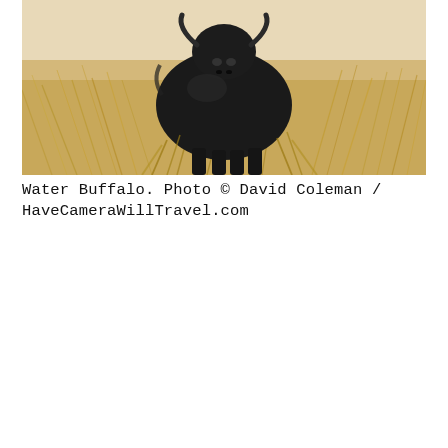[Figure (photo): A black water buffalo walking through tall golden-brown dry grass in an open field, facing the camera directly.]
Water Buffalo. Photo © David Coleman / HaveCameraWillTravel.com